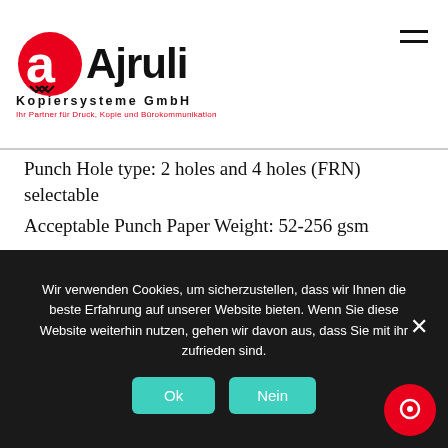[Figure (logo): Ajruli Kopiersysteme GmbH logo with red stylized 'a' icon and black text. Tagline: Ihr Partner für Druck, Kopie und Bürokommunikation]
Punch Hole type: 2 holes and 4 holes (FRN) selectable
Acceptable Punch Paper Weight: 52-256 gsm
Acceptable Punch Paper Size: 2 holes: A3, A4, A4R, Free size (182 x 182 to 297 x 432.0 mm) 4 holes: A3, A4, Custom size Free size ( 257 x 182 mm to 297 x 432 mm)
Wir verwenden Cookies, um sicherzustellen, dass wir Ihnen die beste Erfahrung auf unserer Website bieten. Wenn Sie diese Website weiterhin nutzen, gehen wir davon aus, dass Sie mit ihr zufrieden sind.